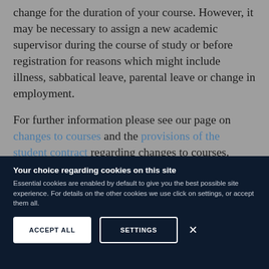change for the duration of your course. However, it may be necessary to assign a new academic supervisor during the course of study or before registration for reasons which might include illness, sabbatical leave, parental leave or change in employment.
For further information please see our page on changes to courses and the provisions of the student contract regarding changes to courses.
Your choice regarding cookies on this site
Essential cookies are enabled by default to give you the best possible site experience. For details on the other cookies we use click on settings, or accept them all.